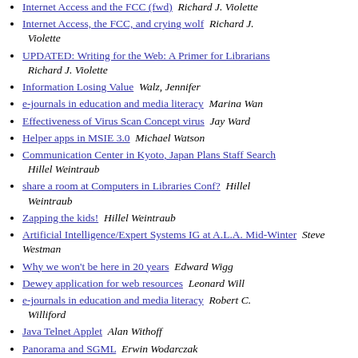Internet Access and the FCC (fwd) Richard J. Violette
Internet Access, the FCC, and crying wolf Richard J. Violette
UPDATED: Writing for the Web: A Primer for Librarians Richard J. Violette
Information Losing Value Walz, Jennifer
e-journals in education and media literacy Marina Wan
Effectiveness of Virus Scan Concept virus Jay Ward
Helper apps in MSIE 3.0 Michael Watson
Communication Center in Kyoto, Japan Plans Staff Search Hillel Weintraub
share a room at Computers in Libraries Conf? Hillel Weintraub
Zapping the kids! Hillel Weintraub
Artificial Intelligence/Expert Systems IG at A.L.A. Mid-Winter Steve Westman
Why we won't be here in 20 years Edward Wigg
Dewey application for web resources Leonard Will
e-journals in education and media literacy Robert C. Williford
Java Telnet Applet Alan Withoff
Panorama and SGML Erwin Wodarczak
Cancel Subs Woollam, John
Suggestion on Launching Windows applications from Netscape? Wendy Wu
Java applications in library and information science? Wendy...